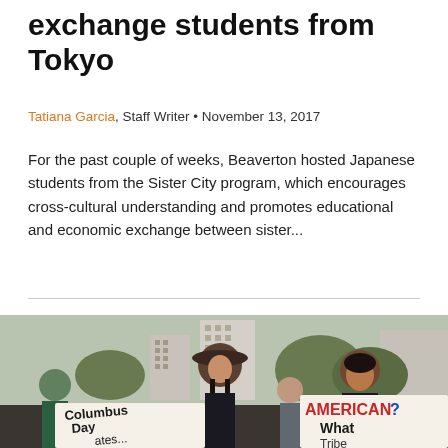exchange students from Tokyo
Tatiana Garcia, Staff Writer • November 13, 2017
For the past couple of weeks, Beaverton hosted Japanese students from the Sister City program, which encourages cross-cultural understanding and promotes educational and economic exchange between sister...
[Figure (photo): Protest photo showing two women holding signs. One sign reads 'Columbus Day ates...' and another reads 'AMERICAN? What [Tribe]'. People are gathered outdoors with trees and buildings in background.]